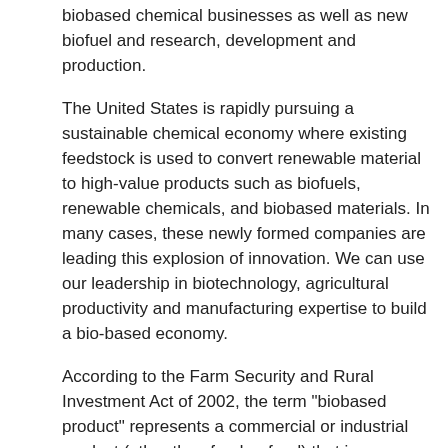biobased chemical businesses as well as new biofuel and research, development and production.
The United States is rapidly pursuing a sustainable chemical economy where existing feedstock is used to convert renewable material to high-value products such as biofuels, renewable chemicals, and biobased materials. In many cases, these newly formed companies are leading this explosion of innovation. We can use our leadership in biotechnology, agricultural productivity and manufacturing expertise to build a bio-based economy.
According to the Farm Security and Rural Investment Act of 2002, the term "biobased product" represents a commercial or industrial product (other than food or feed) that is composed, in whole or in significant part, of biological products or domestic agricultural materials (including plant, animal, and marine materials) or forestry materials or an intermediate feedstock. It might be the case that you were using a product and did not realize the soft drink bottle or deli dish was made from a biobased material. As this industry